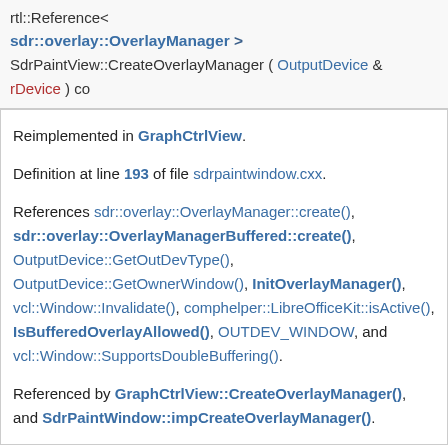rtl::Reference< sdr::overlay::OverlayManager > SdrPaintView::CreateOverlayManager ( OutputDevice & rDevice ) co
Reimplemented in GraphCtrlView.

Definition at line 193 of file sdrpaintwindow.cxx.

References sdr::overlay::OverlayManager::create(), sdr::overlay::OverlayManagerBuffered::create(), OutputDevice::GetOutDevType(), OutputDevice::GetOwnerWindow(), InitOverlayManager(), vcl::Window::Invalidate(), comphelper::LibreOfficeKit::isActive(), IsBufferedOverlayAllowed(), OUTDEV_WINDOW, and vcl::Window::SupportsDoubleBuffering().

Referenced by GraphCtrlView::CreateOverlayManager(), and SdrPaintWindow::impCreateOverlayManager().
◆ DECL_DLLPRIVATE_LINK()